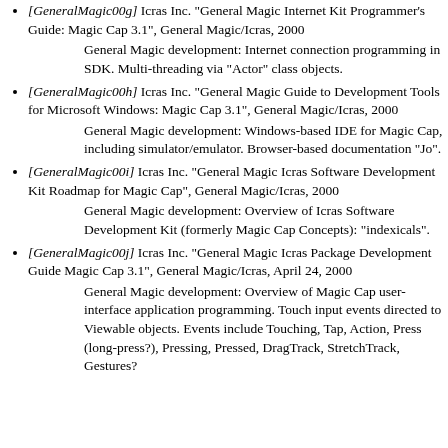[GeneralMagic00g] Icras Inc. "General Magic Internet Kit Programmer's Guide: Magic Cap 3.1", General Magic/Icras, 2000
General Magic development: Internet connection programming in SDK. Multi-threading via "Actor" class objects.
[GeneralMagic00h] Icras Inc. "General Magic Guide to Development Tools for Microsoft Windows: Magic Cap 3.1", General Magic/Icras, 2000
General Magic development: Windows-based IDE for Magic Cap, including simulator/emulator. Browser-based documentation "Jo".
[GeneralMagic00i] Icras Inc. "General Magic Icras Software Development Kit Roadmap for Magic Cap", General Magic/Icras, 2000
General Magic development: Overview of Icras Software Development Kit (formerly Magic Cap Concepts): "indexicals".
[GeneralMagic00j] Icras Inc. "General Magic Icras Package Development Guide Magic Cap 3.1", General Magic/Icras, April 24, 2000
General Magic development: Overview of Magic Cap user-interface application programming. Touch input events directed to Viewable objects. Events include Touching, Tap, Action, Press (long-press?), Pressing, Pressed, DragTrack, StretchTrack, Gestures?.